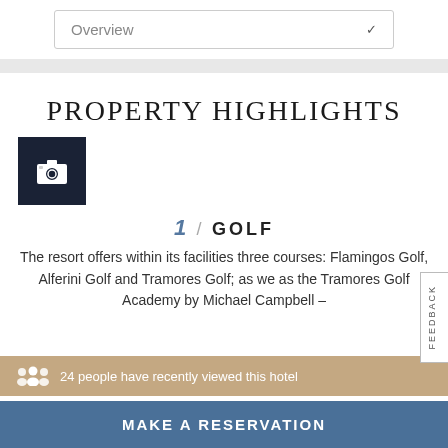Overview ∨
PROPERTY HIGHLIGHTS
[Figure (other): Dark square with camera icon]
1 / GOLF
The resort offers within its facilities three courses: Flamingos Golf, Alferini Golf and Tramores Golf; as well as the Tramores Golf Academy by Michael Campbell –
24 people have recently viewed this hotel
MAKE A RESERVATION